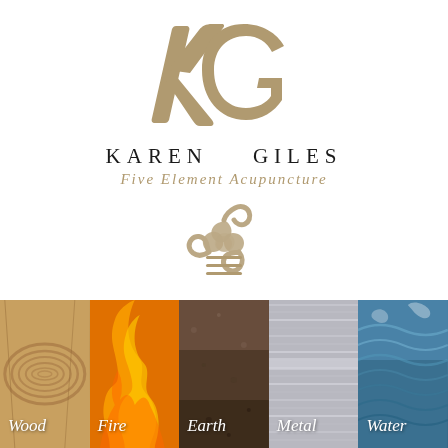[Figure (logo): KG monogram logo in tan/gold script letters, large overlapping K and G]
KAREN GILES
Five Element Acupuncture
[Figure (illustration): Triskelion swirl symbol in tan/gold color]
[Figure (illustration): Hamburger menu icon with three horizontal lines in tan/gold]
[Figure (infographic): Five element panels side by side: Wood (wood grain texture), Fire (orange flames), Earth (dark soil), Metal (silver brushed metal), Water (blue ocean waves), each with label in italic white text at bottom left]